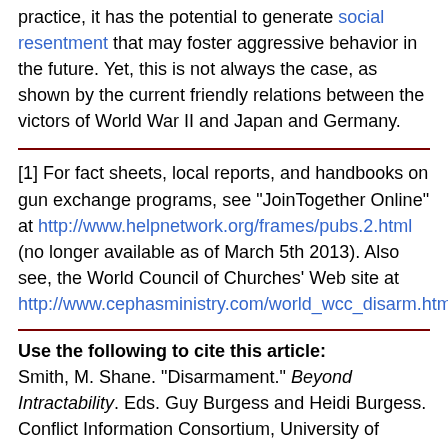practice, it has the potential to generate social resentment that may foster aggressive behavior in the future. Yet, this is not always the case, as shown by the current friendly relations between the victors of World War II and Japan and Germany.
[1] For fact sheets, local reports, and handbooks on gun exchange programs, see "JoinTogether Online" at http://www.helpnetwork.org/frames/pubs.2.html (no longer available as of March 5th 2013). Also see, the World Council of Churches' Web site at http://www.cephasministry.com/world_wcc_disarm.html
Use the following to cite this article:
Smith, M. Shane. "Disarmament." Beyond Intractability. Eds. Guy Burgess and Heidi Burgess. Conflict Information Consortium, University of Colorado, Boulder. Posted: October 2003.